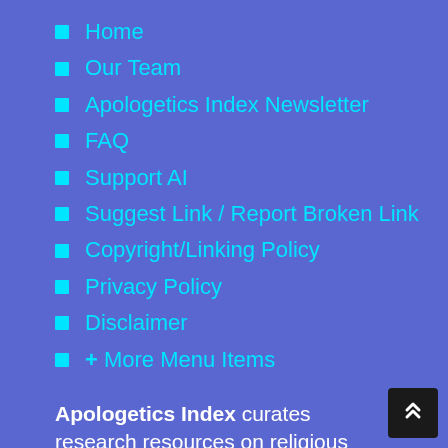Home
Our Team
Apologetics Index Newsletter
FAQ
Support AI
Suggest Link / Report Broken Link
Copyright/Linking Policy
Privacy Policy
Disclaimer
+ More Menu Items
Apologetics Index curates research resources on religious movements, cults, sects, world religions and related issues.
We address doctrines and practices of